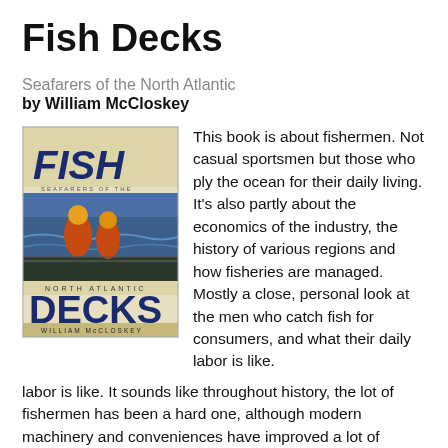Fish Decks
Seafarers of the North Atlantic
by William McCloskey
[Figure (photo): Book cover of 'Fish Seafarers of the North Atlantic Decks' by William McCloskey. Shows large stylized 'FISH' text at top, a photograph of fishermen working on a boat deck in orange rain gear with ocean in background, 'NORTH ATLANTIC' text in middle, large 'DECKS' text at bottom, and 'WILLIAM McCLOSKEY' at the very bottom.]
This book is about fishermen. Not casual sportsmen but those who ply the ocean for their daily living. It's also partly about the economics of the industry, the history of various regions and how fisheries are managed. Mostly a close, personal look at the men who catch fish for consumers, and what their daily labor is like. It sounds like throughout history, the lot of fishermen has been a hard one, although modern machinery and conveniences have improved a lot of